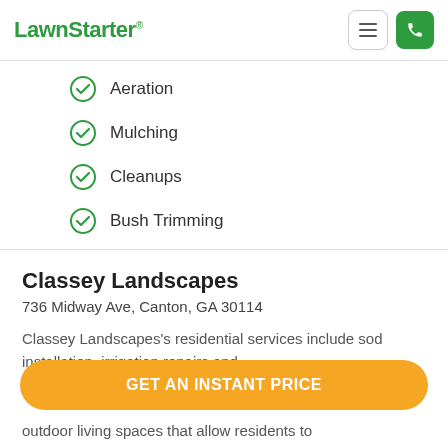LawnStarter
Aeration
Mulching
Cleanups
Bush Trimming
Classey Landscapes
736 Midway Ave, Canton, GA 30114
Classey Landscapes's residential services include sod installation, irrigation repairs and installation, maintenance, and more for beautiful outdoor living spaces that allow residents to
GET AN INSTANT PRICE